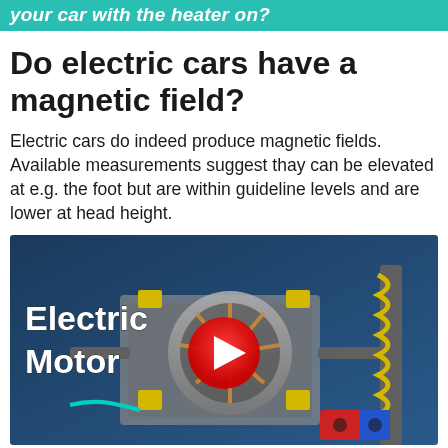your car with the heater on?
Do electric cars have a magnetic field?
Electric cars do indeed produce magnetic fields. Available measurements suggest thay can be elevated at e.g. the foot but are within guideline levels and are lower at head height.
[Figure (screenshot): YouTube video thumbnail showing an electric motor 3D render with the text 'Electric Motor' in white bold text and a red YouTube play button in the center.]